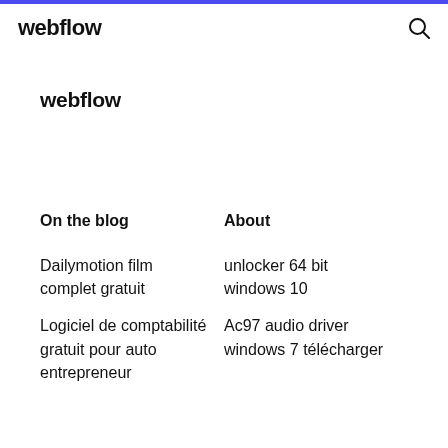webflow
webflow
On the blog
About
Dailymotion film complet gratuit
unlocker 64 bit windows 10
Logiciel de comptabilité gratuit pour auto entrepreneur
Ac97 audio driver windows 7 télécharger